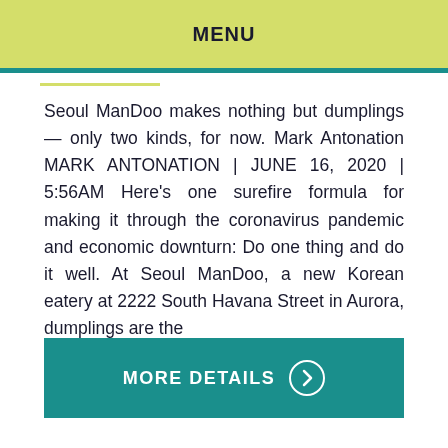MENU
Seoul ManDoo makes nothing but dumplings — only two kinds, for now. Mark Antonation MARK ANTONATION | JUNE 16, 2020 | 5:56AM Here's one surefire formula for making it through the coronavirus pandemic and economic downturn: Do one thing and do it well. At Seoul ManDoo, a new Korean eatery at 2222 South Havana Street in Aurora, dumplings are the
MORE DETAILS